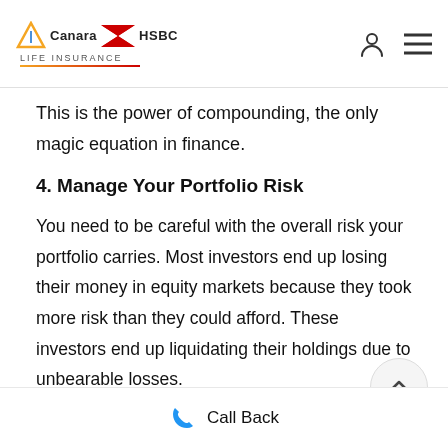Canara HSBC Life Insurance
This is the power of compounding, the only magic equation in finance.
4. Manage Your Portfolio Risk
You need to be careful with the overall risk your portfolio carries. Most investors end up losing their money in equity markets because they took more risk than they could afford. These investors end up liquidating their holdings due to unbearable losses.
Thus, managing your portfolio risk and keeping it within bearable limits is very important. Remember that while you are
Call Back